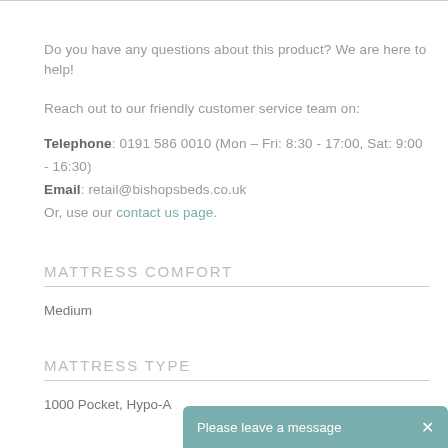Do you have any questions about this product? We are here to help!
Reach out to our friendly customer service team on:
Telephone: 0191 586 0010 (Mon – Fri: 8:30 - 17:00, Sat: 9:00 - 16:30)
Email: retail@bishopsbeds.co.uk
Or, use our contact us page.
MATTRESS COMFORT
Medium
MATTRESS TYPE
1000 Pocket, Hypo-A
Please leave a message